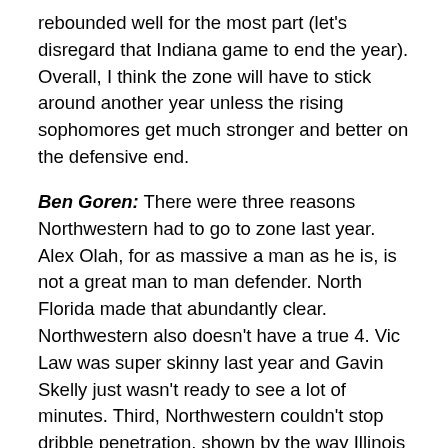rebounded well for the most part (let's disregard that Indiana game to end the year). Overall, I think the zone will have to stick around another year unless the rising sophomores get much stronger and better on the defensive end.
Ben Goren: There were three reasons Northwestern had to go to zone last year. Alex Olah, for as massive a man as he is, is not a great man to man defender. North Florida made that abundantly clear. Northwestern also doesn't have a true 4. Vic Law was super skinny last year and Gavin Skelly just wasn't ready to see a lot of minutes. Third, Northwestern couldn't stop dribble penetration, shown by the way Illinois handled their business in Welsh-Ryan.
I think man is going to make a comeback next year, and the purpose of it is going to probably be obvious.